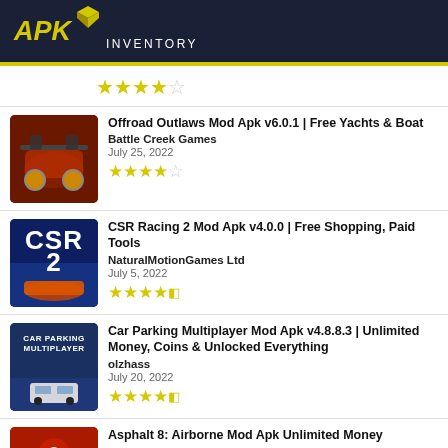APK INVENTORY
★★★★☆ (4 stars out of 5)
Offroad Outlaws Mod Apk v6.0.1 | Free Yachts & Boat
Battle Creek Games
July 25, 2022
★★★★☆
CSR Racing 2 Mod Apk v4.0.0 | Free Shopping, Paid Tools
NaturalMotionGames Ltd
July 5, 2022
★★★★½
Car Parking Multiplayer Mod Apk v4.8.8.3 | Unlimited Money, Coins & Unlocked Everything
olzhass
July 20, 2022
★★★★½
Asphalt 8: Airborne Mod Apk Unlimited Money